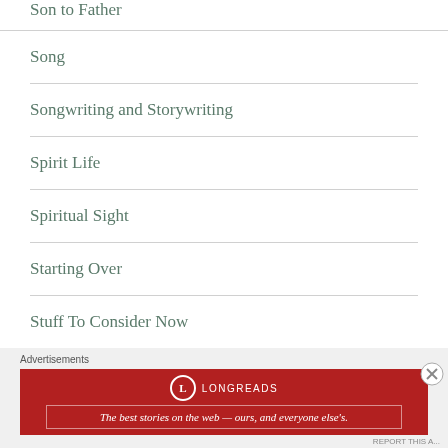Son to Father
Song
Songwriting and Storywriting
Spirit Life
Spiritual Sight
Starting Over
Stuff To Consider Now
Advertisements
[Figure (other): Longreads advertisement banner: red background with Longreads logo and tagline 'The best stories on the web — ours, and everyone else's.']